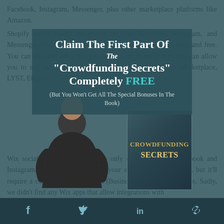Facebook, Instagram, Messenger, plus other marketplace platforms like Amazon. Shopify social media integration includes Facebook, Instagram, and Messenger. It's a marketplace integration for Amazon. It's easy and free. You can also add other integrations through Shopify apps that can allow you to sell on Google, TikTok, Pinterest, eBay, Walmart Marketplace, LYST, Etsy, etc.
Claim The First Part Of The "Crowdfunding Secrets" Completely FREE (But You Won't Get All The Special Bonuses In The Book)
[Figure (illustration): A man in a dark shirt overlapping with a book cover showing 'CROWDFUNDING SECRETS' text on a dark teal background]
Wix social media integrations are only compatible with Facebook and Instagram. You can also integrate your shop with amazon.com, but it'll require a costly subscription plan (Business Unlimited) to access. Sadly, we didn't find any Wix apps that allow integrations with
Social icons: Facebook, Twitter, LinkedIn, Link